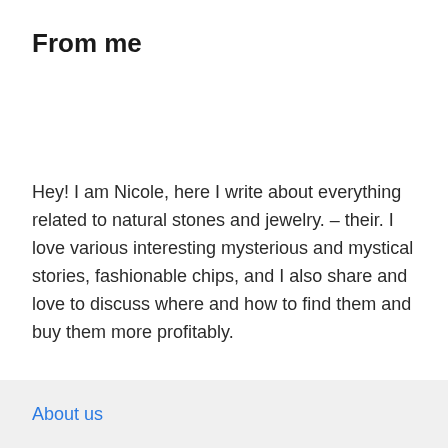From me
Hey! I am Nicole, here I write about everything related to natural stones and jewelry. – their. I love various interesting mysterious and mystical stories, fashionable chips, and I also share and love to discuss where and how to find them and buy them more profitably.
About us